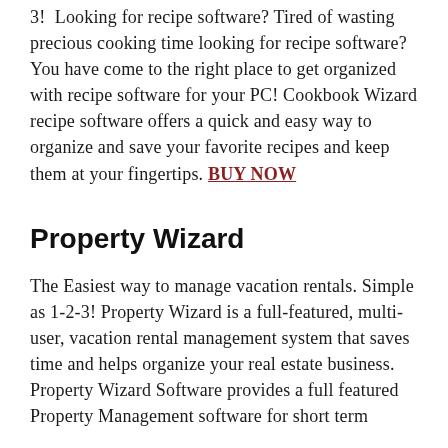3!  Looking for recipe software? Tired of wasting precious cooking time looking for recipe software?  You have come to the right place to get organized with recipe software for your PC! Cookbook Wizard recipe software offers a quick and easy way to organize and save your favorite recipes and keep them at your fingertips. BUY NOW
Property Wizard
The Easiest way to manage vacation rentals. Simple as 1-2-3! Property Wizard is a full-featured, multi-user, vacation rental management system that saves time and helps organize your real estate business. Property Wizard Software provides a full featured Property Management software for short term